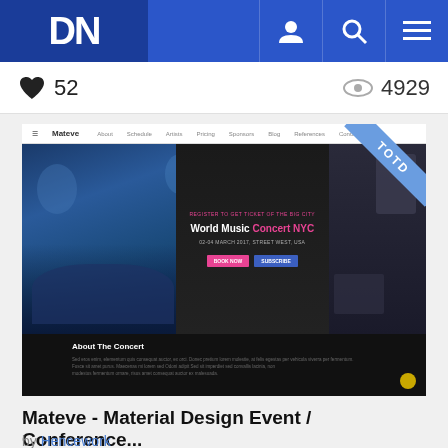DN
52  4929
[Figure (screenshot): Screenshot of Mateve - Material Design Event / Conference website showing navigation bar, concert hero image with 'World Music Concert NYC' heading, date text, BOOK NOW and SUBSCRIBE buttons, and About The Concert section. TOTD ribbon in top-right corner.]
Mateve - Material Design Event / Conference...
by Hencework